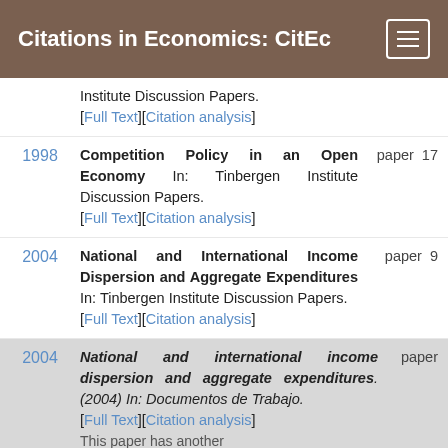Citations in Economics: CitEc
Institute Discussion Papers. [Full Text][Citation analysis]
1998 Competition Policy in an Open Economy In: Tinbergen Institute Discussion Papers. [Full Text][Citation analysis] paper 17
2004 National and International Income Dispersion and Aggregate Expenditures In: Tinbergen Institute Discussion Papers. [Full Text][Citation analysis] paper 9
2004 National and international income dispersion and aggregate expenditures. (2004) In: Documentos de Trabajo. [Full Text][Citation analysis] paper